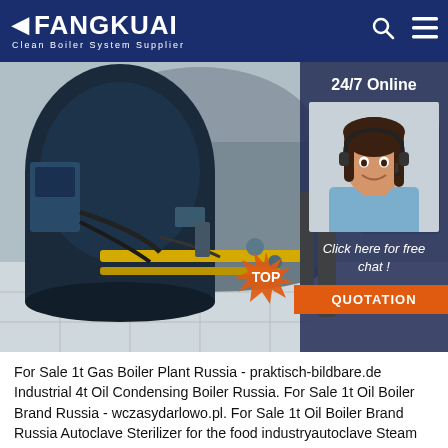FANGKUAI — Clean Boiler System Supplier
[Figure (photo): Industrial gas boiler plant interior with large cylindrical boiler, gas pipes, yellow painted piping and valves on a factory floor. Right side shows a 24/7 online customer service panel with a female agent wearing a headset, 'Click here for free chat!' text, and an orange QUOTATION button.]
For Sale 1t Gas Boiler Plant Russia - praktisch-bildbare.de Industrial 4t Oil Condensing Boiler Russia. For Sale 1t Oil Boiler Brand Russia - wczasydarlowo.pl. For Sale 1t Oil Boiler Brand Russia Autoclave Sterilizer for the food industryautoclave Steam fired Industrial gas fired Biomass Coal fired Production line AAC production line equipment in green calcium silicate board production line sand lime bricks plant Annual 200000 m3 AAC